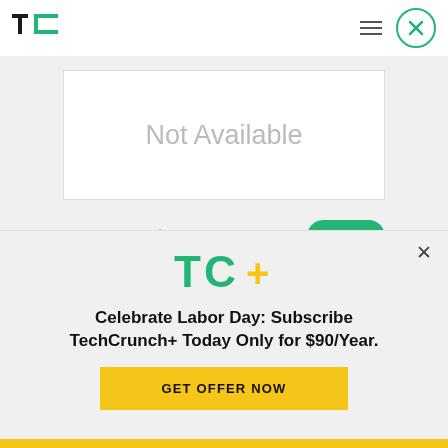TechCrunch navigation bar with TC logo, hamburger menu, and close button
[Figure (screenshot): Mobile app screenshot showing 'Not Available' placeholder box, a Promo Code input field with X icon and green Apply button, and a partial green rounded button at the bottom]
[Figure (logo): TC+ logo with green TC letters and yellow/green plus sign]
Celebrate Labor Day: Subscribe TechCrunch+ Today Only for $90/Year.
GET OFFER NOW